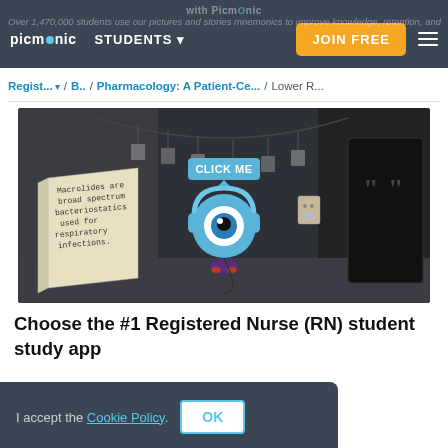with Picmonic
STUDENTS   JOIN FREE
Over 1,470,000 students use our pictures and stories
mnemonics to improve knowledge, retention, and
Regist... / B.. / Pharmacology: A Patient-Ce... / Lower R...
[Figure (screenshot): Picmonic animated learning scene showing a cartoon eye character wearing headphones with a 'CLICK ME' button. An open book on the left reads 'Macrolides are broad spectrum bacteriostatics used for respiratory infections.' Dark room background with hanging tags and a dark tablet on the right.]
Choose the #1 Registered Nurse (RN) student study app
I accept the Cookie Policy.   OK
N) covers information that is relevant to your entire Registered Nurse (RN)